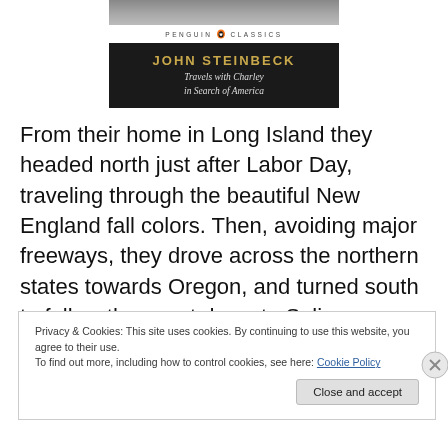[Figure (illustration): Book cover of 'Travels with Charley in Search of America' by John Steinbeck, Penguin Classics audiobook edition. Black cover with gold author name and italic title text. Read by Gary Sinise, Unabridged.]
From their home in Long Island they headed north just after Labor Day, traveling through the beautiful New England fall colors. Then, avoiding major freeways, they drove across the northern states towards Oregon, and turned south to follow the coast down to Salinas, where Steinbeck grew up.  John and I listened to the audio book
Privacy & Cookies: This site uses cookies. By continuing to use this website, you agree to their use.
To find out more, including how to control cookies, see here: Cookie Policy
Close and accept